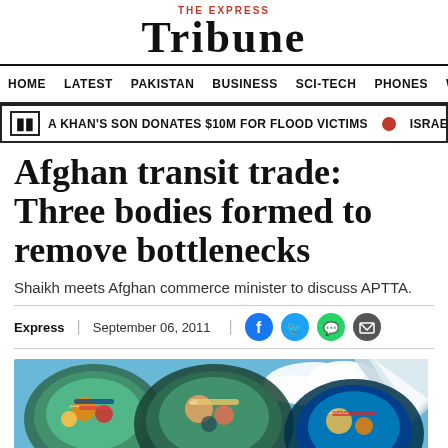THE EXPRESS TRIBUNE
HOME | LATEST | PAKISTAN | BUSINESS | SCI-TECH | PHONES | W
A KHAN'S SON DONATES $10M FOR FLOOD VICTIMS | ISRAEL SAYS PRESSURING U
Afghan transit trade: Three bodies formed to remove bottlenecks
Shaikh meets Afghan commerce minister to discuss APTTA.
Express | September 06, 2011
[Figure (photo): Colorfully decorated Pakistani trucks (jingle trucks) with snow-capped mountains and blue sky in the background]